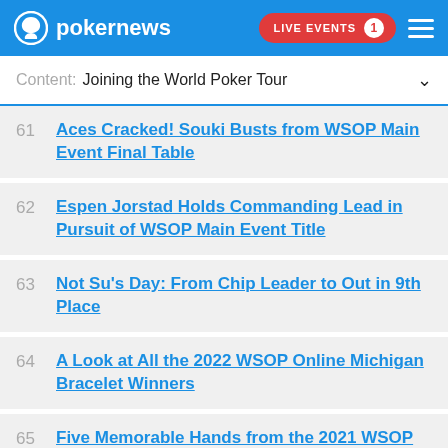pokernews | LIVE EVENTS 1
Content: Joining the World Poker Tour
61 Aces Cracked! Souki Busts from WSOP Main Event Final Table
62 Espen Jorstad Holds Commanding Lead in Pursuit of WSOP Main Event Title
63 Not Su's Day: From Chip Leader to Out in 9th Place
64 A Look at All the 2022 WSOP Online Michigan Bracelet Winners
65 Five Memorable Hands from the 2021 WSOP Main Event Final Table